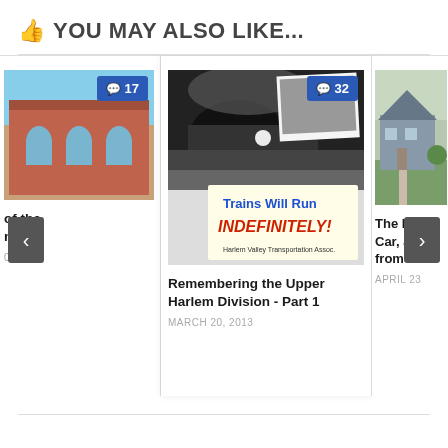YOU MAY ALSO LIKE...
[Figure (screenshot): Carousel of related blog posts. Left card (partial): building photo with badge showing 17 comments, title 'of the ...ne:' (partially visible), date ending '012'. Center card: train photo with a sign reading 'Trains Will Run INDEFINITELY! Harlem Valley Transportation Assoc.', badge showing 32 comments, title 'Remembering the Upper Harlem Division - Part 1', date 'MARCH 20, 2013'. Right card (partial): house/building photo, title 'The Bu... Car, and... from Le...', date 'APRIL 23'. Navigation arrows on left and right.]